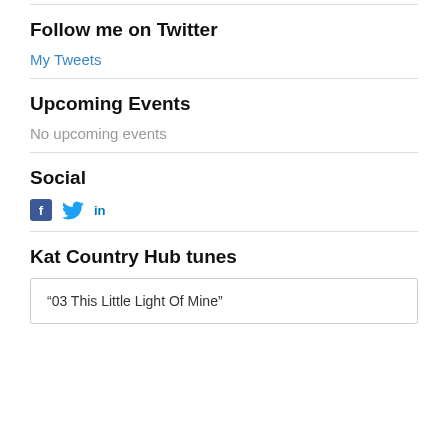Follow me on Twitter
My Tweets
Upcoming Events
No upcoming events
Social
[Figure (other): Social media icons: Facebook, Twitter, LinkedIn]
Kat Country Hub tunes
“03 This Little Light Of Mine”